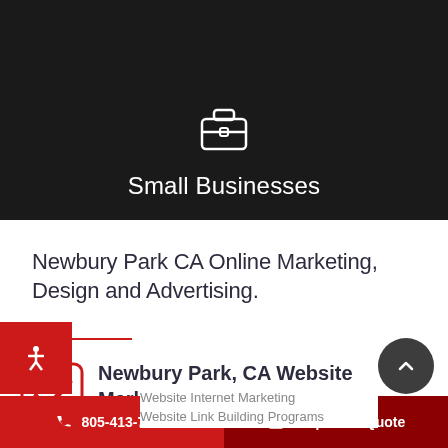[Figure (screenshot): Dark hero banner with a briefcase/suitcase icon (white outline) on a dark background showing a blurred office scene]
Small Businesses
Newbury Park CA Online Marketing, Design and Advertising.
Newbury Park, CA Website Marketing
Website Internet Marketing
Website Link Building Programs